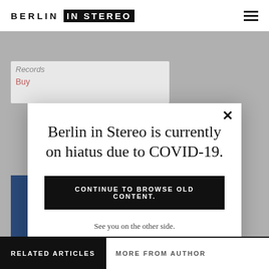BERLIN IN STEREO
Records
Buy
Berlin in Stereo is currently on hiatus due to COVID-19.
CONTINUE TO BROWSE OLD CONTENT.
See you on the other side.
RELATED ARTICLES  MORE FROM AUTHOR